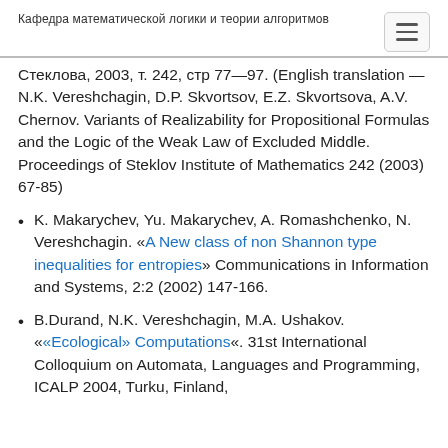Кафедра математической логики и теории алгоритмов
Стеклова, 2003, т. 242, стр 77—97. (English translation — N.K. Vereshchagin, D.P. Skvortsov, E.Z. Skvortsova, A.V. Chernov. Variants of Realizability for Propositional Formulas and the Logic of the Weak Law of Excluded Middle. Proceedings of Steklov Institute of Mathematics 242 (2003) 67-85)
K. Makarychev, Yu. Makarychev, A. Romashchenko, N. Vereshchagin. «A New class of non Shannon type inequalities for entropies» Communications in Information and Systems, 2:2 (2002) 147-166.
B.Durand, N.K. Vereshchagin, M.A. Ushakov. ««Ecological» Computations«. 31st International Colloquium on Automata, Languages and Programming, ICALP 2004, Turku, Finland,